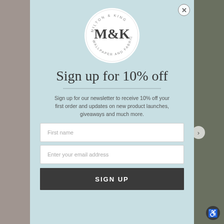[Figure (logo): Milton & King wallpaper and fabric circular logo with M&K monogram in center]
Sign up for 10% off
Sign up for our newsletter to receive 10% off your first order and updates on new product launches, giveaways and much more.
First name
Enter your email address
SIGN UP